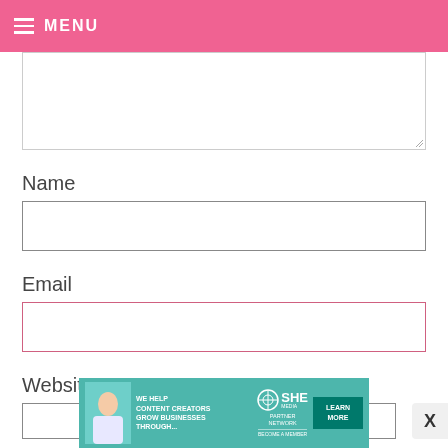MENU
[Figure (screenshot): Textarea input box (empty, resizable) for a web comment form]
Name
[Figure (screenshot): Name text input box (empty)]
Email
[Figure (screenshot): Email text input box (empty, pink border)]
Website
[Figure (screenshot): Website text input box (partial, cut off at bottom)]
[Figure (infographic): SHE Media Partner Network advertisement banner reading: WE HELP CONTENT CREATORS GROW BUSINESSES THROUGH... with LEARN MORE button]